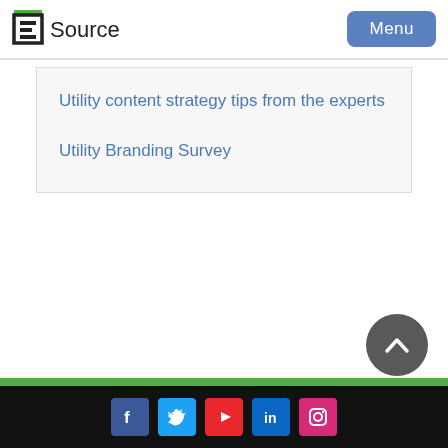ESource | Menu
Utility content strategy tips from the experts
Utility Branding Survey
Social media icons: Facebook, Twitter, YouTube, LinkedIn, Instagram